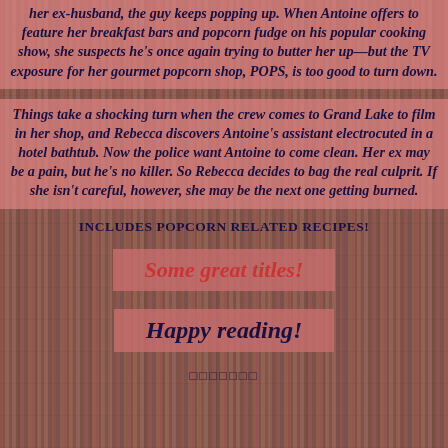her ex-husband, the guy keeps popping up. When Antoine offers to feature her breakfast bars and popcorn fudge on his popular cooking show, she suspects he's once again trying to butter her up—but the TV exposure for her gourmet popcorn shop, POPS, is too good to turn down.
Things take a shocking turn when the crew comes to Grand Lake to film in her shop, and Rebecca discovers Antoine's assistant electrocuted in a hotel bathtub. Now the police want Antoine to come clean. Her ex may be a pain, but he's no killer. So Rebecca decides to bag the real culprit. If she isn't careful, however, she may be the next one getting burned.
INCLUDES POPCORN RELATED RECIPES!
Some great titles!
Happy reading!
□□□□□□□